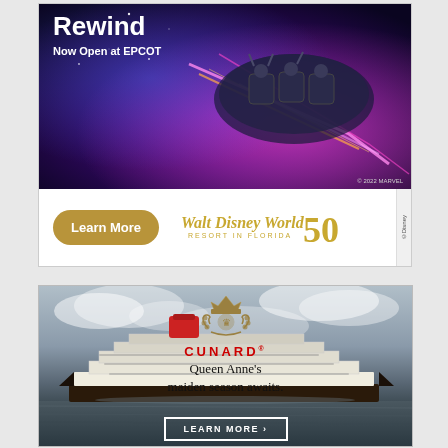[Figure (photo): Walt Disney World advertisement. Top section shows 'Rewind' heading with 'Now Open at EPCOT' subtitle over a dark space-themed background with a Guardians of the Galaxy roller coaster ride vehicle. Bottom section has a gold 'Learn More' button and Walt Disney World Resort in Florida 50th anniversary logo. '©2022 MARVEL' and '©Disney' copyright notices visible.]
[Figure (photo): Cunard cruise line advertisement showing the Cunard emblem and red CUNARD® logo at top, 'Queen Anne's maiden season awaits.' text, a large cruise ship on water with cloudy sky background, and a 'LEARN MORE ›' button outlined in white at the bottom.]